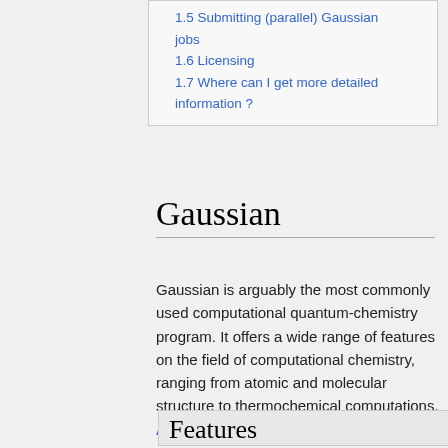1.5 Submitting (parallel) Gaussian jobs
1.6 Licensing
1.7 Where can I get more detailed information ?
Gaussian
Gaussian is arguably the most commonly used computational quantum-chemistry program. It offers a wide range of features on the field of computational chemistry, ranging from atomic and molecular structure to thermochemical computations. A list of these features can be found here.
Features